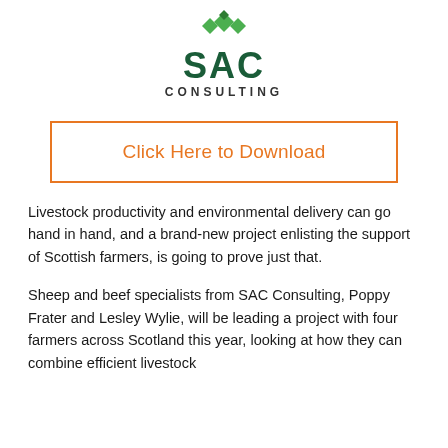[Figure (logo): SAC Consulting logo with green diamond shapes above the text 'SAC' and 'CONSULTING' in dark green and dark gray.]
Click Here to Download
Livestock productivity and environmental delivery can go hand in hand, and a brand-new project enlisting the support of Scottish farmers, is going to prove just that.
Sheep and beef specialists from SAC Consulting, Poppy Frater and Lesley Wylie, will be leading a project with four farmers across Scotland this year, looking at how they can combine efficient livestock